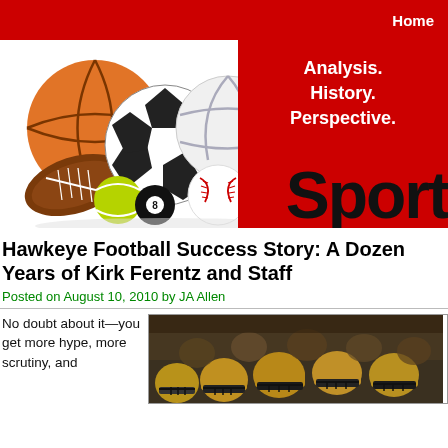Home
[Figure (illustration): Sports balls banner with basketball, soccer ball, volleyball, baseball, tennis ball, billiard ball, and football. Red panel with text 'Analysis. History. Perspective.' and large bold text 'Sport']
Hawkeye Football Success Story: A Dozen Years of Kirk Ferentz and Staff
Posted on August 10, 2010 by JA Allen
No doubt about it—you get more hype, more scrutiny, and
[Figure (photo): Photo of football players in helmets (Iowa Hawkeyes) on the field, crowded together, dark/gold helmets visible]